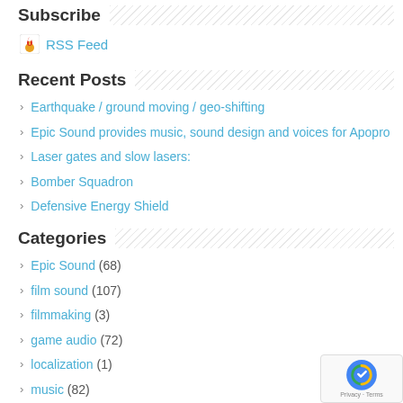Subscribe
RSS Feed
Recent Posts
Earthquake / ground moving / geo-shifting
Epic Sound provides music, sound design and voices for Apopro
Laser gates and slow lasers:
Bomber Squadron
Defensive Energy Shield
Categories
Epic Sound (68)
film sound (107)
filmmaking (3)
game audio (72)
localization (1)
music (82)